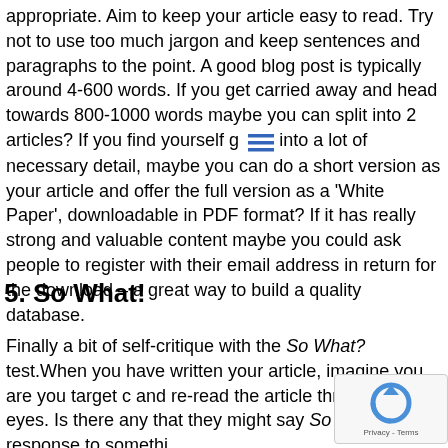appropriate. Aim to keep your article easy to read. Try not to use too much jargon and keep sentences and paragraphs to the point. A good blog post is typically around 4-600 words. If you get carried away and head towards 800-1000 words maybe you can split into 2 articles? If you find yourself g into a lot of necessary detail, maybe you can do a short version as your article and offer the full version as a 'White Paper', downloadable in PDF format? If it has really strong and valuable content maybe you could ask people to register with their email address in return for the download – a great way to build a quality database.
5. So What!
Finally a bit of self-critique with the So What? test. When you have written your article, imagine you are you target c and re-read the article through their eyes. Is there any that they might say So What? in response to somethi
[Figure (other): reCAPTCHA widget overlay in bottom-right corner showing the reCAPTCHA logo (circular arrow icon) and 'Privacy - Terms' text]